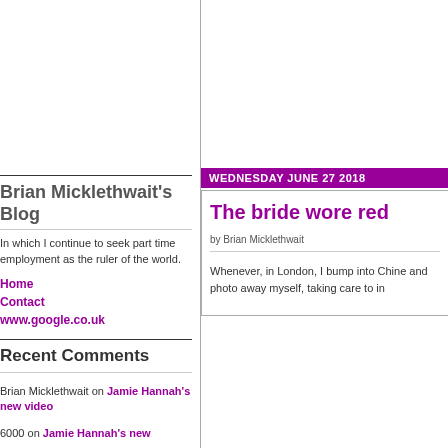Brian Micklethwait's Blog
In which I continue to seek part time employment as the ruler of the world.
Home
Contact
www.google.co.uk
Recent Comments
Brian Micklethwait on Jamie Hannah's new video
6000 on Jamie Hannah's new
WEDNESDAY JUNE 27 2018
The bride wore red
by Brian Micklethwait
Whenever, in London, I bump into Chine and photo away myself, taking care to in